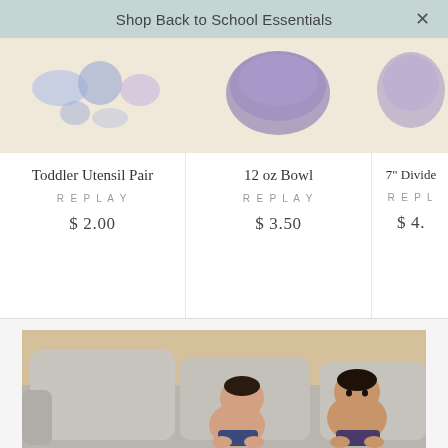Shop Back to School Essentials
Toddler Utensil Pair
REPLAY
$ 2.00
12 oz Bowl
REPLAY
$ 3.50
7" Divide...
REPL...
$ 4....
[Figure (photo): Two babies/toddlers sitting on a grey couch with large cushions, wearing floral shorts, photographed indoors against a beige wall]